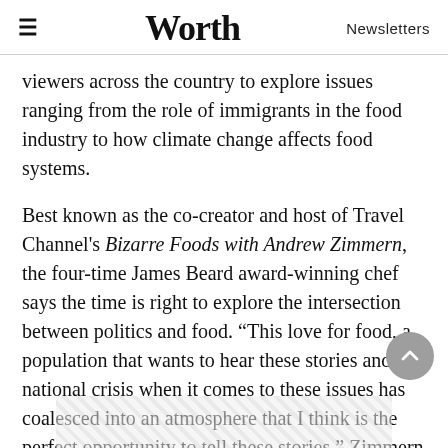≡  Worth  Newsletters
viewers across the country to explore issues ranging from the role of immigrants in the food industry to how climate change affects food systems.
Best known as the co-creator and host of Travel Channel's Bizarre Foods with Andrew Zimmern, the four-time James Beard award-winning chef says the time is right to explore the intersection between politics and food. “This love for food, a population that wants to hear these stories and a national crisis when it comes to these issues has coalesced into an atmosphere that I think is the perfect opportunity to tell these stories,” Zimmern says.